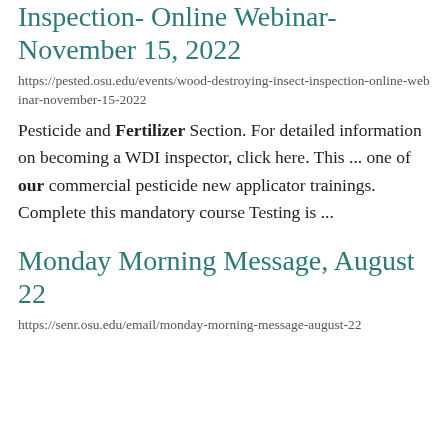Inspection- Online Webinar- November 15, 2022
https://pested.osu.edu/events/wood-destroying-insect-inspection-online-webinar-november-15-2022
Pesticide and Fertilizer Section. For detailed information on becoming a WDI inspector, click here. This ... one of our commercial pesticide new applicator trainings. Complete this mandatory course Testing is ...
Monday Morning Message, August 22
https://senr.osu.edu/email/monday-morning-message-august-22